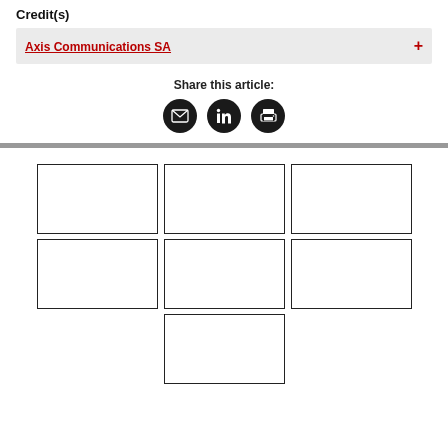Credit(s)
Axis Communications SA
Share this article:
[Figure (infographic): Three social sharing icon buttons: email (envelope icon), LinkedIn (in icon), and print (printer icon), each in a dark circular button]
[Figure (infographic): A 3-column grid of empty rectangular image placeholders: two rows of three boxes each, and a third row with one box in the center column only]